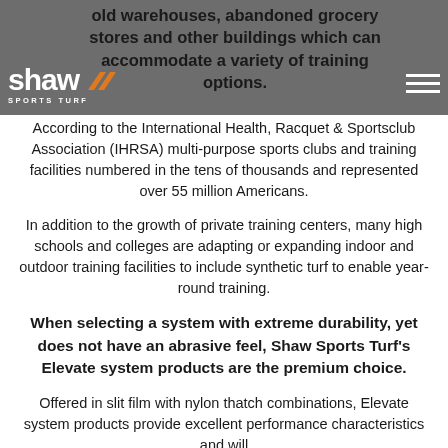old warehouses, abandoned grocery stores and other buildings which can accommodate a variety of training options.
[Figure (logo): Shaw Sports Turf logo with orange chevron symbol, white text on grey background]
According to the International Health, Racquet & Sportsclub Association (IHRSA) multi-purpose sports clubs and training facilities numbered in the tens of thousands and represented over 55 million Americans.
In addition to the growth of private training centers, many high schools and colleges are adapting or expanding indoor and outdoor training facilities to include synthetic turf to enable year-round training.
When selecting a system with extreme durability, yet does not have an abrasive feel, Shaw Sports Turf's Elevate system products are the premium choice.
Offered in slit film with nylon thatch combinations, Elevate system products provide excellent performance characteristics and will